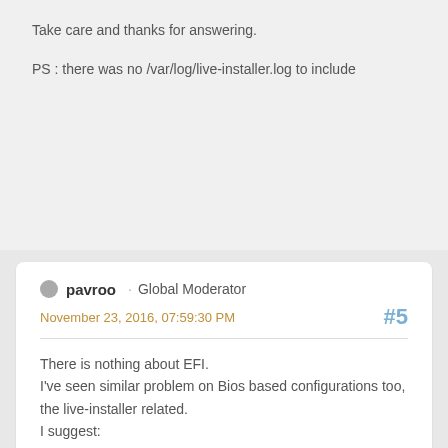Take care and thanks for answering.
PS : there was no /var/log/live-installer.log to include
pavroo · Global Moderator
November 23, 2016, 07:59:30 PM
#5
There is nothing about EFI.
I've seen similar problem on Bios based configurations too, the live-installer related.
I suggest:
Disconnect all not needed disks: you had sda, sdb and sdc connected during installation (live system was on sdd). Keep connected only the one you want to install Sparky to.

If still no luck, try to install the live system using older installer called Advanced Installer.